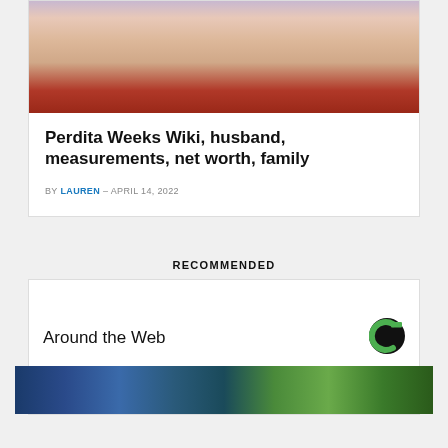[Figure (photo): Close-up photo of Perdita Weeks, a woman with light skin, showing her face and upper body. She appears to be at a formal event, wearing what looks like a dark red/burgundy outfit, with earrings visible.]
Perdita Weeks Wiki, husband, measurements, net worth, family
BY LAUREN - APRIL 14, 2022
RECOMMENDED
Around the Web
[Figure (photo): Thumbnail strip image showing what appears to be a colorful scene, partially visible at the bottom of the page.]